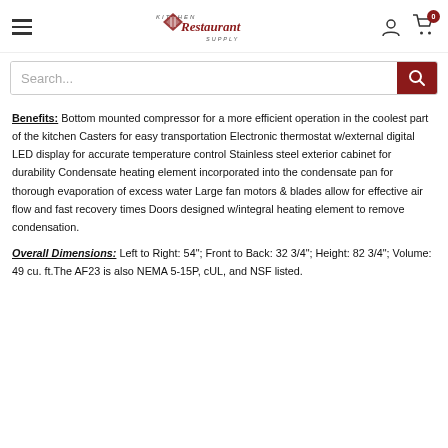Kitchen Restaurant Supply — navigation header with hamburger menu, logo, user icon, and cart (0)
Search...
Benefits: Bottom mounted compressor for a more efficient operation in the coolest part of the kitchen Casters for easy transportation Electronic thermostat w/external digital LED display for accurate temperature control Stainless steel exterior cabinet for durability Condensate heating element incorporated into the condensate pan for thorough evaporation of excess water Large fan motors & blades allow for effective air flow and fast recovery times Doors designed w/integral heating element to remove condensation.
Overall Dimensions: Left to Right: 54"; Front to Back: 32 3/4"; Height: 82 3/4"; Volume: 49 cu. ft.The AF23 is also NEMA 5-15P, cUL, and NSF listed.